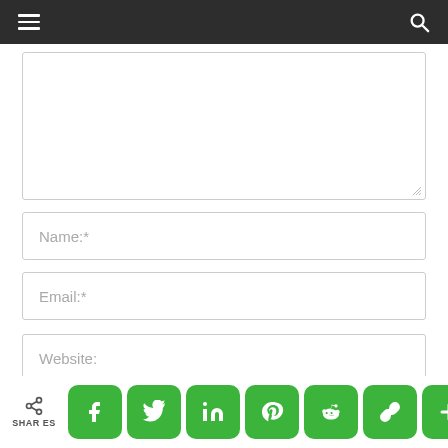Navigation bar with hamburger menu and search icon
[Figure (screenshot): Comment form textarea (empty), large white box with resize handle]
Name:*
Email:*
Website:
Save my name, email, and website in this browser for the next time I comment.
SHARES — Social share buttons: Facebook, Twitter, LinkedIn, Pinterest, Reddit, Link, More